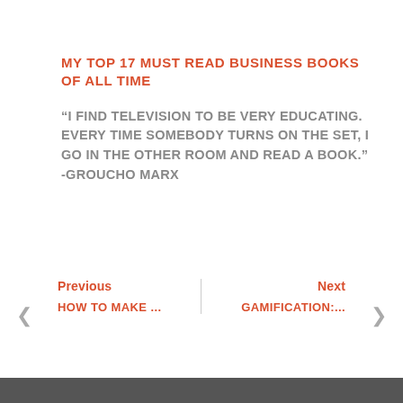MY TOP 17 MUST READ BUSINESS BOOKS OF ALL TIME
“I FIND TELEVISION TO BE VERY EDUCATING. EVERY TIME SOMEBODY TURNS ON THE SET, I GO IN THE OTHER ROOM AND READ A BOOK.” -GROUCHO MARX
Previous | HOW TO MAKE ... | Next | GAMIFICATION:...